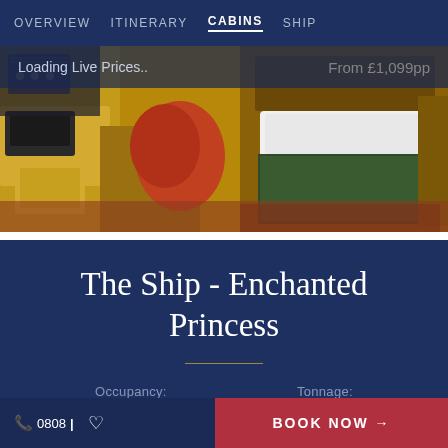OVERVIEW  ITINERARY  CABINS  SHIP
Loading Live Prices..
From £1,099pp
[Figure (photo): Interior cruise ship cabin showing a bed with white pillow and dark green blanket, wooden furniture, telephone, and carpeted floor]
The Ship - Enchanted Princess
Occupancy:
Tonnage:
0808| ♡  BOOK NOW →